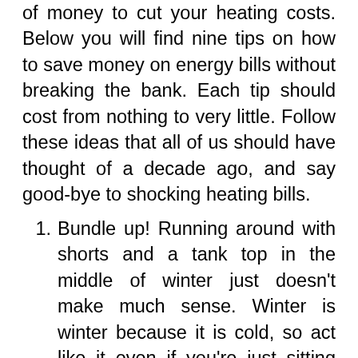of money to cut your heating costs. Below you will find nine tips on how to save money on energy bills without breaking the bank. Each tip should cost from nothing to very little. Follow these ideas that all of us should have thought of a decade ago, and say good-bye to shocking heating bills.
Bundle up! Running around with shorts and a tank top in the middle of winter just doesn't make much sense. Winter is winter because it is cold, so act like it even if you're just sitting around the house. Put on a sweater or sweatshirt, wear socks and fuzzy